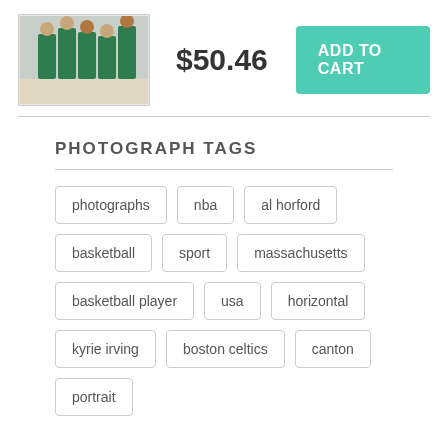[Figure (photo): Basketball team photo showing players in green uniforms]
$50.46
ADD TO CART
PHOTOGRAPH TAGS
photographs
nba
al horford
basketball
sport
massachusetts
basketball player
usa
horizontal
kyrie irving
boston celtics
canton
portrait